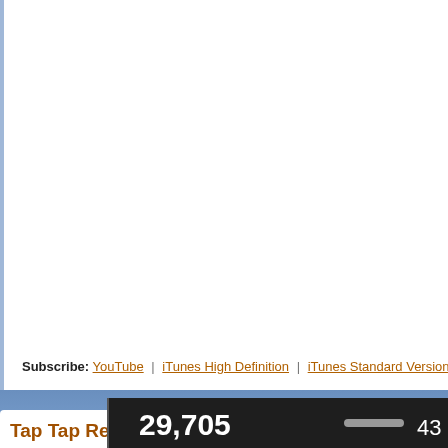Subscribe: YouTube | iTunes High Definition | iTunes Standard Version | RSS
Tap Tap Revenge: Dave Matthews Band edition
Posted by Andru Edwards
Categories: Games, Music, New Apps, Tapulous, $4.99,
[Figure (screenshot): Screenshot of Tap Tap Revenge game showing score 29,705 and 43, with wooden game board and flame graphic]